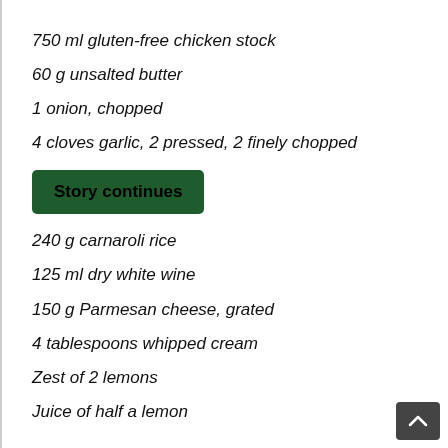750 ml gluten-free chicken stock
60 g unsalted butter
1 onion, chopped
4 cloves garlic, 2 pressed, 2 finely chopped
Story continues
240 g carnaroli rice
125 ml dry white wine
150 g Parmesan cheese, grated
4 tablespoons whipped cream
Zest of 2 lemons
Juice of half a lemon